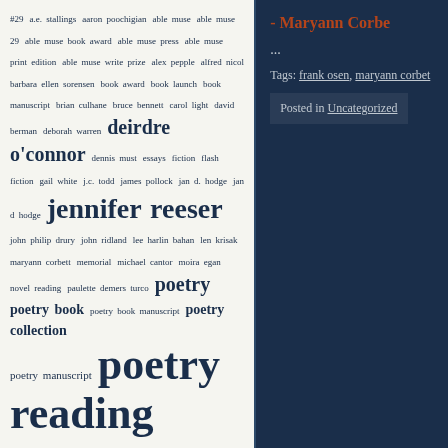#29 a.e. stallings aaron poochigian able muse able muse 29 able muse book award able muse press able muse print edition able muse write prize alex pepple alfred nicol barbara ellen sorensen book award book launch book manuscript brian culhane bruce bennett carol light david berman deborah warren deirdre o'connor dennis must essays fiction flash fiction gail white j.c. todd james pollock jan d. hodge jan d hodge jennifer reeser john philip drury john ridland lee harlin bahan len krisak maryann corbett memorial michael cantor moira egan novel reading paulette demers turco poetry poetry book poetry book manuscript poetry collection poetry manuscript poetry reading poetry translation print edition rachel hadas rebecca starks rhina p. espaillat richard wakefield rob wright rosemerry wahtola trommer sally thomas susan de sola susan mclean west chester university will cordeiro william baer william conelly write prize zoom poetry reading zoom reading
- Maryann Corbe
...
Tags: frank osen, maryann corbet
Posted in Uncategorized